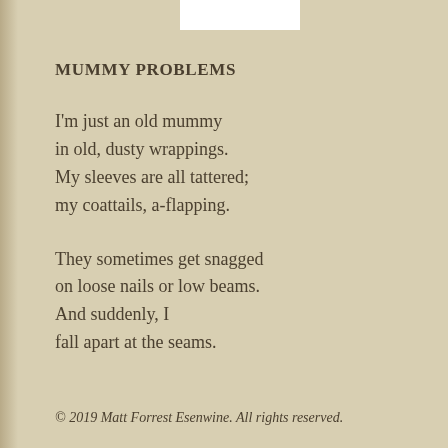MUMMY PROBLEMS
I'm just an old mummy
in old, dusty wrappings.
My sleeves are all tattered;
my coattails, a-flapping.
They sometimes get snagged
on loose nails or low beams.
And suddenly, I
fall apart at the seams.
© 2019 Matt Forrest Esenwine. All rights reserved.